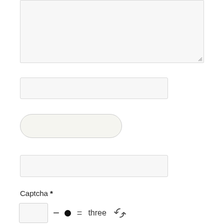[Figure (screenshot): Textarea input field with light gray background and resize handle at bottom right]
Name*
Email*
Website
Captcha *
[Figure (screenshot): Captcha widget: blank input box, minus sign, filled circle, equals sign, word 'three', refresh icon]